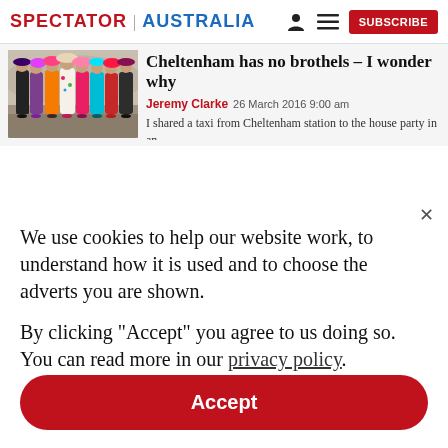SPECTATOR | AUSTRALIA
Cheltenham has no brothels – I wonder why
Jeremy Clarke  26 March 2016 9:00 am
I shared a taxi from Cheltenham station to the house party in an
We use cookies to help our website work, to understand how it is used and to choose the adverts you are shown.

By clicking "Accept" you agree to us doing so. You can read more in our privacy policy.
Accept